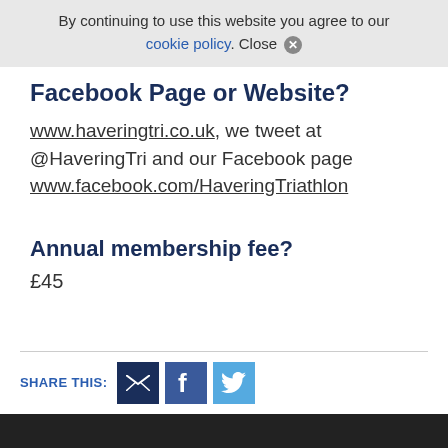By continuing to use this website you agree to our cookie policy. Close
Facebook Page or Website?
www.haveringtri.co.uk, we tweet at @HaveringTri and our Facebook page www.facebook.com/HaveringTriathlon
Annual membership fee?
£45
SHARE THIS: